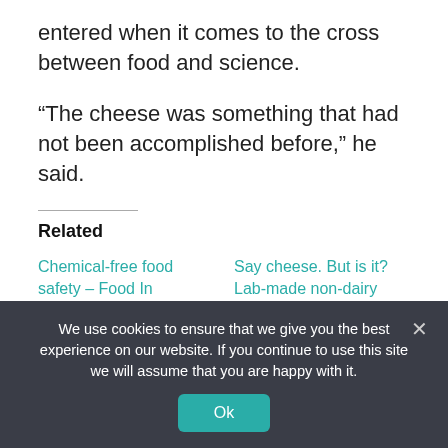entered when it comes to the cross between food and science.
“The cheese was something that had not been accomplished before,” he said.
Related
Chemical-free food safety – Food In CanadaFood In Canada
July 28, 2022
In "Recipes"
Say cheese. But is it? Lab-made non-dairy breakthrough acts, tastes and cooks like cheese
We use cookies to ensure that we give you the best experience on our website. If you continue to use this site we will assume that you are happy with it.